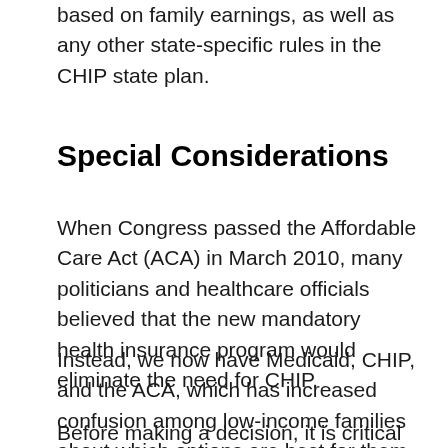Eligible within the state's CHIP income range based on family earnings, as well as any other state-specific rules in the CHIP state plan.
Special Considerations
When Congress passed the Affordable Care Act (ACA) in March 2010, many politicians and healthcare officials believed that the new mandatory health insurance program would eliminate the need for CHIP.
Instead, we now have Medicaid, CHIP, and the ACA, which has increased confusion among low-income families about which options are best for them.
Before making a decision, it is critical to consider all